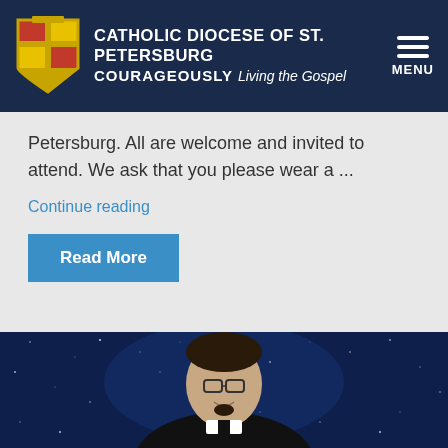CATHOLIC DIOCESE OF ST. PETERSBURG COURAGEOUSLY Living the Gospel MENU
Petersburg. All are welcome and invited to attend. We ask that you please wear a ...
Continue reading
Read More
[Figure (photo): Portrait photo of a young male Catholic priest with glasses, short dark hair, goatee, wearing a black clerical collar shirt, smiling, against a dark blue starry night sky background.]